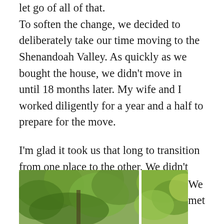let go of all of that. To soften the change, we decided to deliberately take our time moving to the Shenandoah Valley. As quickly as we bought the house, we didn't move in until 18 months later. My wife and I worked diligently for a year and a half to prepare for the move.
I'm glad it took us that long to transition from one place to the other. We didn't want to merely cut and run from the people and place we loved. That interlude gave us the opportunity and space we needed to adjust to this major, life-changing decision.
[Figure (photo): Two outdoor photos side by side showing trees with green foliage, partially visible at the bottom of the page.]
We met